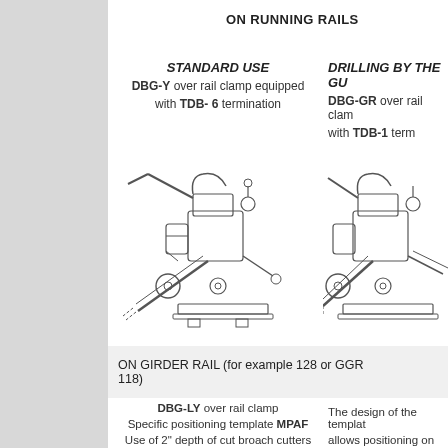ON RUNNING RAILS
STANDARD USE
DBG-Y over rail clamp equipped with TDB- 6 termination
DRILLING BY THE GU
DBG-GR over rail clam with TDB-1 term
[Figure (engineering-diagram): Technical illustration of DBG-Y rail drilling machine mounted on running rail, showing the drill mechanism, clamp, motor and drive assembly in side view]
[Figure (engineering-diagram): Technical illustration of DBG-GR rail drilling machine mounted on running rail, partial view showing clamping mechanism and motor assembly]
ON GIRDER RAIL (for example 128 or GGR 118)
DBG-LY over rail clamp
Specific positioning template MPAF
Use of 2" depth of cut broach cutters
The design of the template allows positioning on both rails